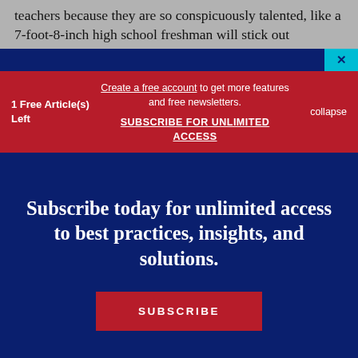teachers because they are so conspicuously talented, like a 7-foot-8-inch high school freshman will stick out
1 Free Article(s) Left
Create a free account to get more features and free newsletters.
SUBSCRIBE FOR UNLIMITED ACCESS
collapse
Subscribe today for unlimited access to best practices, insights, and solutions.
SUBSCRIBE